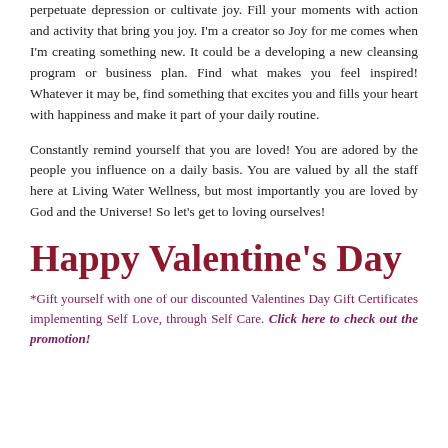perpetuate depression or cultivate joy. Fill your moments with action and activity that bring you joy. I'm a creator so Joy for me comes when I'm creating something new. It could be a developing a new cleansing program or business plan. Find what makes you feel inspired! Whatever it may be, find something that excites you and fills your heart with happiness and make it part of your daily routine.
Constantly remind yourself that you are loved! You are adored by the people you influence on a daily basis. You are valued by all the staff here at Living Water Wellness, but most importantly you are loved by God and the Universe! So let's get to loving ourselves!
Happy Valentine's Day
*Gift yourself with one of our discounted Valentines Day Gift Certificates implementing Self Love, through Self Care. Click here to check out the promotion!